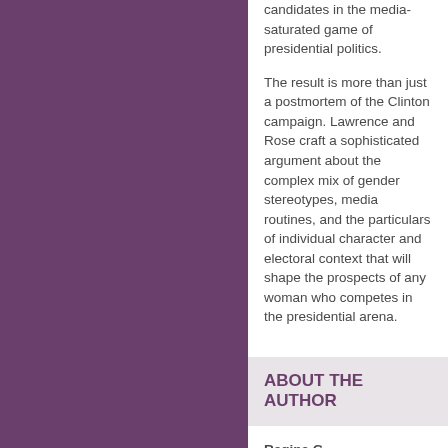candidates in the media-saturated game of presidential politics.
The result is more than just a postmortem of the Clinton campaign. Lawrence and Rose craft a sophisticated argument about the complex mix of gender stereotypes, media routines, and the particulars of individual character and electoral context that will shape the prospects of any woman who competes in the presidential arena.
ABOUT THE AUTHOR
Regina G. Lawrence is